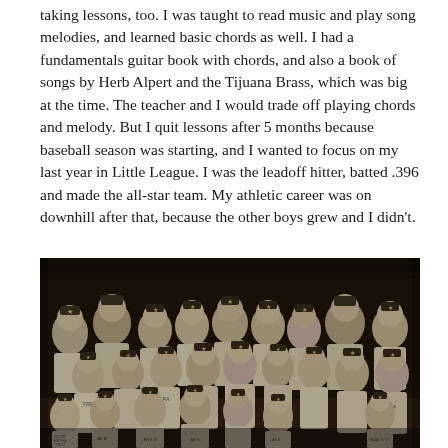taking lessons, too.  I was taught to read music and play song melodies, and learned basic chords as well.  I had a fundamentals guitar book with chords, and also a book of songs by Herb Alpert and the Tijuana Brass, which was big at the time.  The teacher and I would trade off playing chords and melody.  But I quit lessons after 5 months because baseball season was starting, and I wanted to focus on my last year in Little League.  I was the leadoff hitter, batted .396 and made the all-star team.  My athletic career was on downhill after that, because the other boys grew and I didn't.
[Figure (photo): Black and white group photograph of a Little League baseball team — approximately 20 boys in baseball uniforms with star emblems on their caps, posed in three rows, with two adult coaches/managers visible in the back row.]